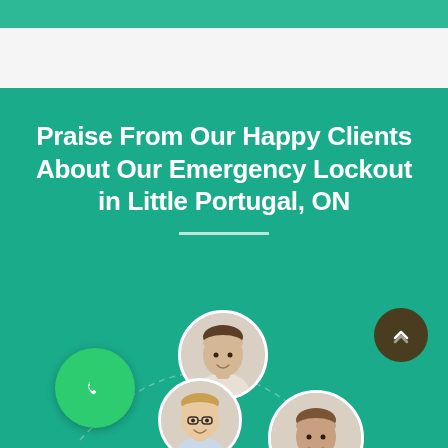Praise From Our Happy Clients About Our Emergency Lockout in Little Portugal, ON
[Figure (illustration): Decorative section with green background, phone icon in a green circle, dashed arc with customer face avatars (male, female, male), and a dark circular scroll-up button in the top right corner.]